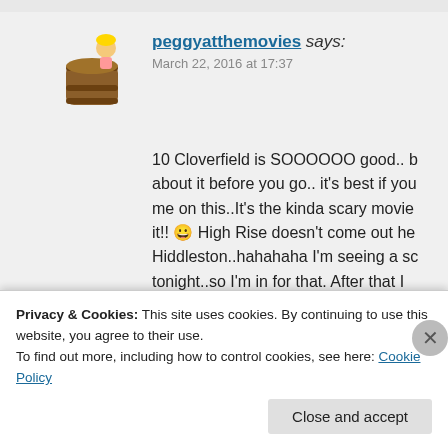[Figure (illustration): Avatar image of a cartoon character (blonde figure with a barrel/trunk) representing the user peggyatthemovies]
peggyatthemovies says:
March 22, 2016 at 17:37
10 Cloverfield is SOOOOOO good.. b about it before you go.. it's best if you me on this..It's the kinda scary movie it!! 😀 High Rise doesn't come out he Hiddleston..hahahaha I'm seeing a sc tonight..so I'm in for that. After that I of War Boys, The Boss, Demolition & remember..ha! again..rush to see Clov
Reply
Privacy & Cookies: This site uses cookies. By continuing to use this website, you agree to their use.
To find out more, including how to control cookies, see here: Cookie Policy
Close and accept